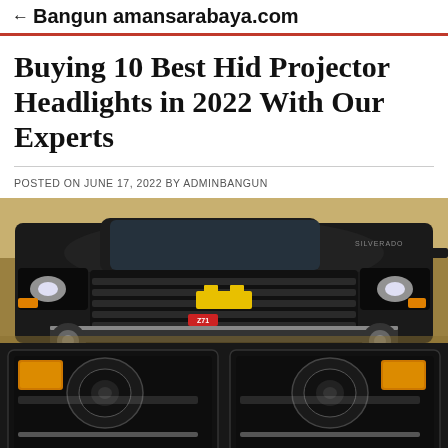Bangun amansarabaya.com
Buying 10 Best Hid Projector Headlights in 2022 With Our Experts
POSTED ON JUNE 17, 2022 BY ADMINBANGUN
[Figure (photo): Composite image: top half shows a black Chevrolet pickup truck (Silverado Z71) with HID projector headlights in an outdoor setting; bottom half shows a pair of aftermarket HID projector headlight assemblies with amber corner lenses against a black background.]